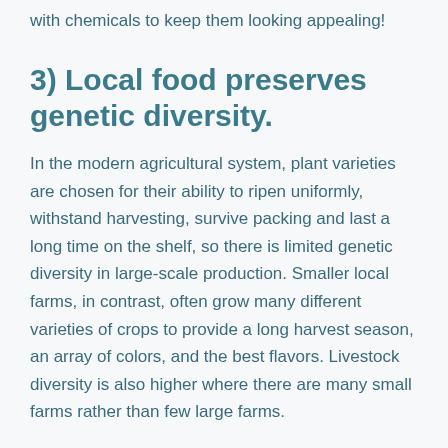with chemicals to keep them looking appealing!
3) Local food preserves genetic diversity.
In the modern agricultural system, plant varieties are chosen for their ability to ripen uniformly, withstand harvesting, survive packing and last a long time on the shelf, so there is limited genetic diversity in large-scale production. Smaller local farms, in contrast, often grow many different varieties of crops to provide a long harvest season, an array of colors, and the best flavors. Livestock diversity is also higher where there are many small farms rather than few large farms.